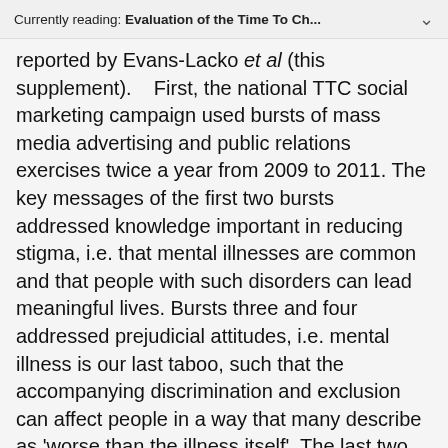Currently reading: Evaluation of the Time To Ch...
reported by Evans-Lacko et al (this supplement).   First, the national TTC social marketing campaign used bursts of mass media advertising and public relations exercises twice a year from 2009 to 2011. The key messages of the first two bursts addressed knowledge important in reducing stigma, i.e. that mental illnesses are common and that people with such disorders can lead meaningful lives. Bursts three and four addressed prejudicial attitudes, i.e. mental illness is our last taboo, such that the accompanying discrimination and exclusion can affect people in a way that many describe as 'worse than the illness itself'. The last two campaign bursts addressed behaviour change; i.e. we can all do something to help people with mental illness, such as maintaining social contact. Selected knowledge, attitudes and behaviour questions from the three measures used in the Attitudes to Mental Illness